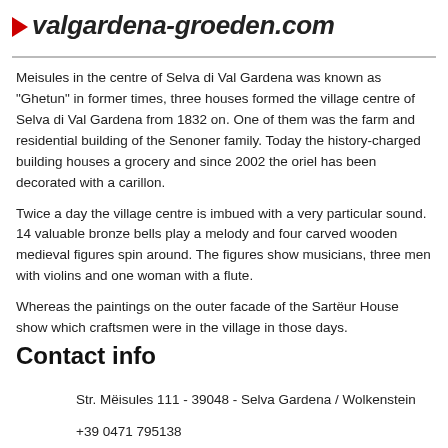valgardena-groeden.com
Meisules in the centre of Selva di Val Gardena was known as “Ghetun” in former times, three houses formed the village centre of Selva di Val Gardena from 1832 on. One of them was the farm and residential building of the Senoner family. Today the history-charged building houses a grocery and since 2002 the oriel has been decorated with a carillon.
Twice a day the village centre is imbued with a very particular sound. 14 valuable bronze bells play a melody and four carved wooden medieval figures spin around. The figures show musicians, three men with violins and one woman with a flute.
Whereas the paintings on the outer facade of the Sartëur House show which craftsmen were in the village in those days.
Contact info
Str. Mëisules 111 - 39048 - Selva Gardena / Wolkenstein
+39 0471 795138